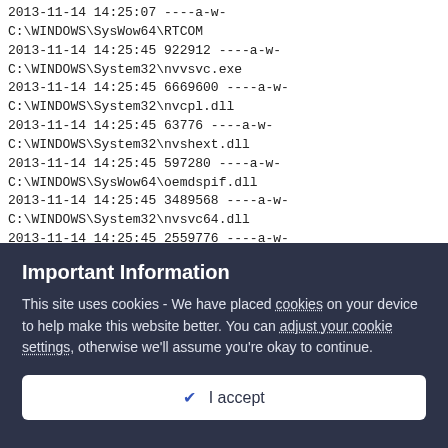2013-11-14 14:25:45 922912 ----a-w- C:\WINDOWS\System32\nvvsvc.exe
2013-11-14 14:25:45 6669600 ----a-w- C:\WINDOWS\System32\nvcpl.dll
2013-11-14 14:25:45 63776 ----a-w- C:\WINDOWS\System32\nvshext.dll
2013-11-14 14:25:45 597280 ----a-w- C:\WINDOWS\SysWow64\oemdspif.dll
2013-11-14 14:25:45 3489568 ----a-w- C:\WINDOWS\System32\nvsvc64.dll
2013-11-14 14:25:45 2559776 ----a-w- C:\WINDOWS\System32\nvsvsr.dll
Important Information
This site uses cookies - We have placed cookies on your device to help make this website better. You can adjust your cookie settings, otherwise we'll assume you're okay to continue.
I accept